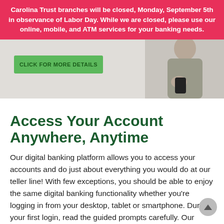Carolina Trust branches will be closed, Monday, September 5th in observance of Labor Day. While we are closed, please use our online, mobile, and ATM services for your banking needs.
[Figure (photo): Hero image showing a woman holding a smartphone, with a green 'CLICK FOR MORE DETAILS' button overlaid on the left side of the image.]
Access Your Account Anywhere, Anytime
Our digital banking platform allows you to access your accounts and do just about everything you would do at our teller line! With few exceptions, you should be able to enjoy the same digital banking functionality whether you're logging in from your desktop, tablet or smartphone. During your first login, read the guided prompts carefully. Our digital banking system will guide you step-by-step through your first login.